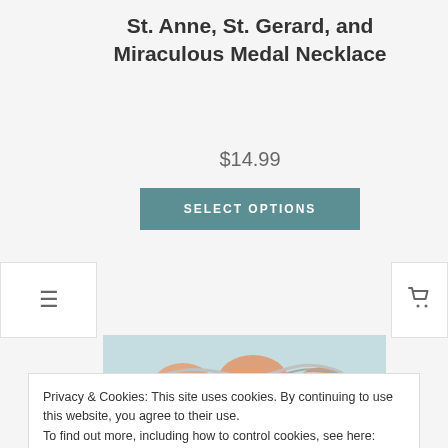St. Anne, St. Gerard, and Miraculous Medal Necklace
$14.99
SELECT OPTIONS
[Figure (photo): Close-up photo of a hand holding a silver twisted chain necklace against a light blue background]
Privacy & Cookies: This site uses cookies. By continuing to use this website, you agree to their use.
To find out more, including how to control cookies, see here:
Cookie Policy
Close and accept